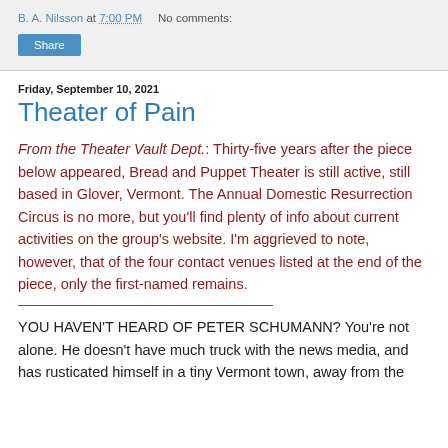B. A. Nilsson at 7:00 PM   No comments:
Share
Friday, September 10, 2021
Theater of Pain
From the Theater Vault Dept.: Thirty-five years after the piece below appeared, Bread and Puppet Theater is still active, still based in Glover, Vermont. The Annual Domestic Resurrection Circus is no more, but you'll find plenty of info about current activities on the group's website. I'm aggrieved to note, however, that of the four contact venues listed at the end of the piece, only the first-named remains.
YOU HAVEN'T HEARD OF PETER SCHUMANN? You're not alone. He doesn't have much truck with the news media, and has rusticated himself in a tiny Vermont town, away from the